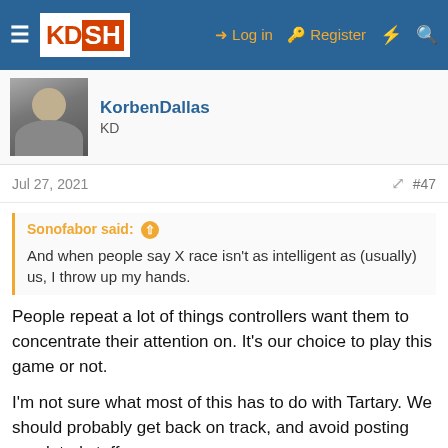KD SH — Log in  Register
[Figure (screenshot): User avatar photo of KorbenDallas — bald man, dark background]
KorbenDallas
KD
Jul 27, 2021
#47
Sonofabor said: ↑
And when people say X race isn't as intelligent as (usually) us, I throw up my hands.
People repeat a lot of things controllers want them to concentrate their attention on. It's our choice to play this game or not.
I'm not sure what most of this has to do with Tartary. We should probably get back on track, and avoid posting unrelated stuff.
Silvenou
[Figure (screenshot): Victoria's Secret advertisement banner: 'SHOP THE COLLECTION' with SHOP NOW button]